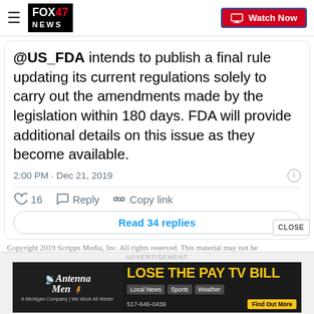FOX 47 NEWS | Watch Now
@US_FDA intends to publish a final rule updating its current regulations solely to carry out the amendments made by the legislation within 180 days. FDA will provide additional details on this issue as they become available.
2:00 PM · Dec 21, 2019
♡ 16   Reply   Copy link
Read 34 replies
Copyright 2019 Scripps Media, Inc. All rights reserved. This material may not be
[Figure (other): Advertisement banner: Antenna Men - LOSE THE PAY TV BILL. A Michigan Company | We Work All Winter. 517-646-0439. Local News, Sports, Weather. Find Out More.]